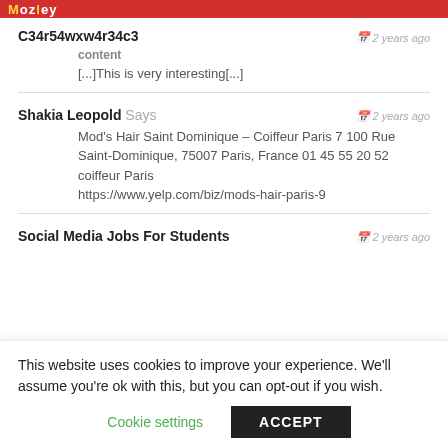Mozley
C34r54wxw4r34c3
content
[...]This is very interesting[...]
Shakia Leopold Says
Mod's Hair Saint Dominique – Coiffeur Paris 7 100 Rue Saint-Dominique, 75007 Paris, France 01 45 55 20 52 coiffeur Paris
https://www.yelp.com/biz/mods-hair-paris-9
Social Media Jobs For Students
This website uses cookies to improve your experience. We'll assume you're ok with this, but you can opt-out if you wish.